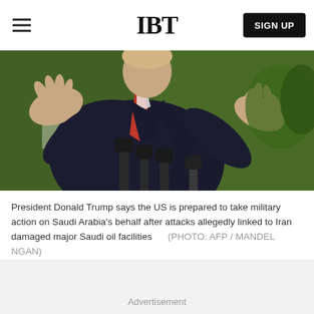IBT
[Figure (photo): President Donald Trump speaking outdoors with microphones in front, wearing a dark suit and red tie, hands raised, with green lawn in background]
President Donald Trump says the US is prepared to take military action on Saudi Arabia's behalf after attacks allegedly linked to Iran damaged major Saudi oil facilities      (PHOTO: AFP / MANDEL NGAN)
Advertisement